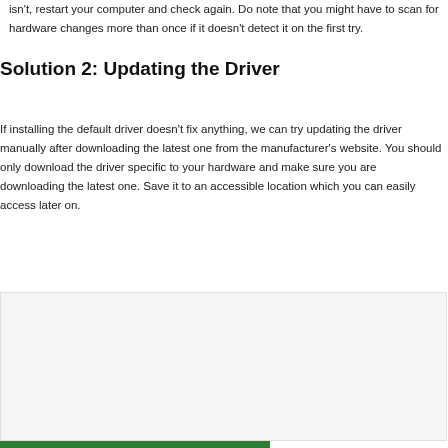isn't, restart your computer and check again. Do note that you might have to scan for hardware changes more than once if it doesn't detect it on the first try.
Solution 2: Updating the Driver
If installing the default driver doesn't fix anything, we can try updating the driver manually after downloading the latest one from the manufacturer's website. You should only download the driver specific to your hardware and make sure you are downloading the latest one. Save it to an accessible location which you can easily access later on.
[Figure (screenshot): Screenshot placeholder image with grey background]